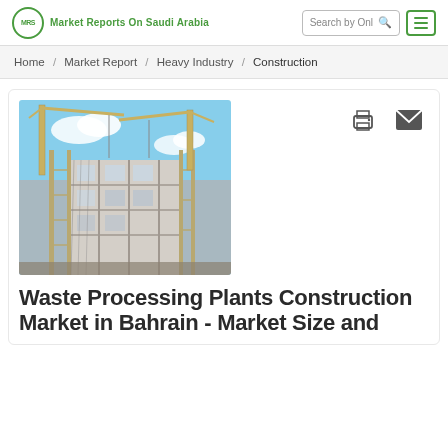Market Reports On Saudi Arabia
Home / Market Report / Heavy Industry / Construction
[Figure (photo): Construction site with cranes and scaffolding on a multi-storey building under construction against a blue sky]
Waste Processing Plants Construction Market in Bahrain - Market Size and